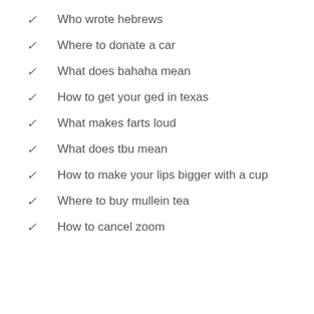Who wrote hebrews
Where to donate a car
What does bahaha mean
How to get your ged in texas
What makes farts loud
What does tbu mean
How to make your lips bigger with a cup
Where to buy mullein tea
How to cancel zoom